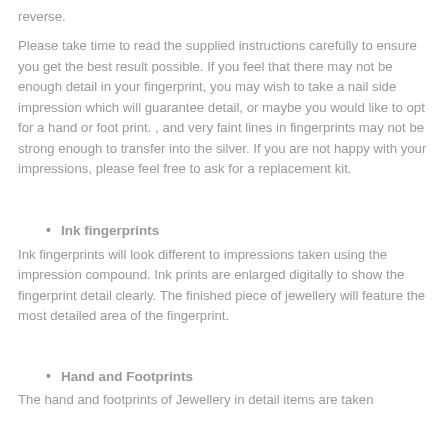reverse.
Please take time to read the supplied instructions carefully to ensure you get the best result possible. If you feel that there may not be enough detail in your fingerprint, you may wish to take a nail side impression which will guarantee detail, or maybe you would like to opt for a hand or foot print. , and very faint lines in fingerprints may not be strong enough to transfer into the silver. If you are not happy with your impressions, please feel free to ask for a replacement kit.
Ink fingerprints
Ink fingerprints will look different to impressions taken using the impression compound. Ink prints are enlarged digitally to show the fingerprint detail clearly. The finished piece of jewellery will feature the most detailed area of the fingerprint.
Hand and Footprints
The hand and footprints of Jewellery in detail items are taken